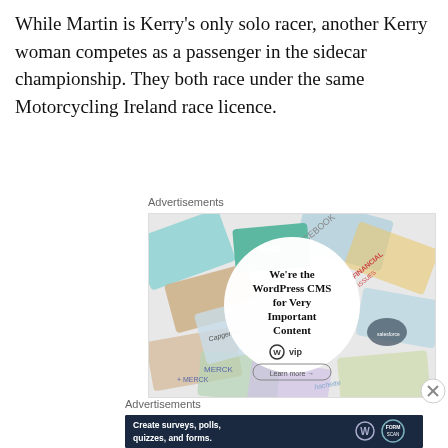While Martin is Kerry's only solo racer, another Kerry woman competes as a passenger in the sidecar championship. They both race under the same Motorcycling Ireland race licence.
Advertisements
[Figure (other): WordPress VIP advertisement showing various brand logos (Meta, Facebook, Merck, Hachette, Salesforce, Capgemini) arranged around a central circle with text 'We're the WordPress CMS for Very Important Content' and WordPress VIP logo with 'Learn more' button]
Advertisements
[Figure (other): Dark blue banner advertisement: 'Create surveys, polls, quizzes, and forms.' with WordPress logo and a circular badge icon]